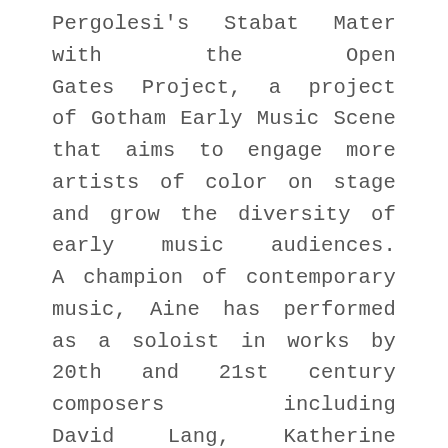Pergolesi's Stabat Mater with the Open Gates Project, a project of Gotham Early Music Scene that aims to engage more artists of color on stage and grow the diversity of early music audiences. A champion of contemporary music, Aine has performed as a soloist in works by 20th and 21st century composers including David Lang, Katherine Hoover, and Thea Musgrave. Most notably, she was the soloist in the world premiere of Nina Shekhar's Blush, a ten-minute long piece for soprano and choir that explores the sometimes painful, often beautiful